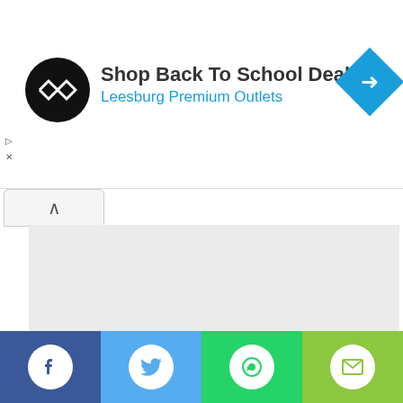[Figure (screenshot): Advertisement banner: black circular logo with double arrows, bold text 'Shop Back To School Deals', blue subtext 'Leesburg Premium Outlets', blue diamond navigation icon top right, small play/close icons on left]
[Figure (screenshot): Collapsed map area with up-arrow collapse button, light gray placeholder map region]
Best Dhal Puri in Mauritius by Public Voting
[Figure (screenshot): Light gray placeholder map/content area below the title]
[Figure (screenshot): Social sharing bar at bottom with four buttons: Facebook (dark blue), Twitter (light blue), WhatsApp (green), Email (yellow-green)]